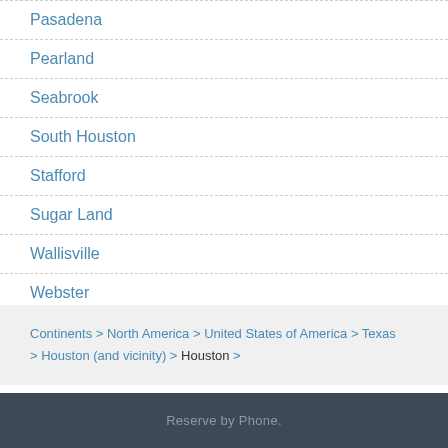Pasadena
Pearland
Seabrook
South Houston
Stafford
Sugar Land
Wallisville
Webster
Continents > North America > United States of America > Texas > Houston (and vicinity) > Houston >
Reserve by Phone.